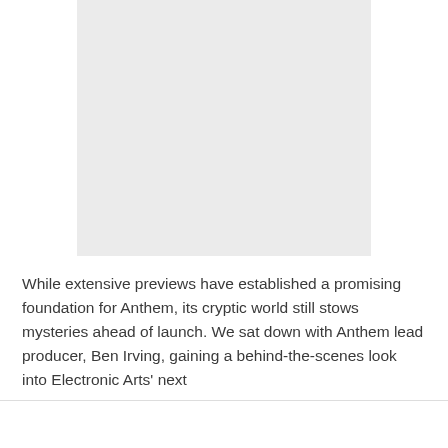[Figure (photo): Gray placeholder image box]
While extensive previews have established a promising foundation for Anthem, its cryptic world still stows mysteries ahead of launch. We sat down with Anthem lead producer, Ben Irving, gaining a behind-the-scenes look into Electronic Arts' next